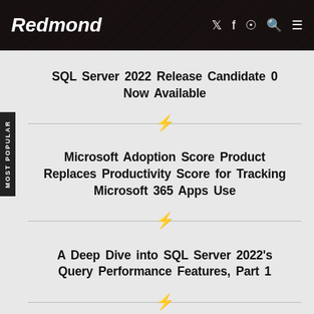Redmond
SQL Server 2022 Release Candidate 0 Now Available
Microsoft Adoption Score Product Replaces Productivity Score for Tracking Microsoft 365 Apps Use
A Deep Dive into SQL Server 2022's Query Performance Features, Part 1